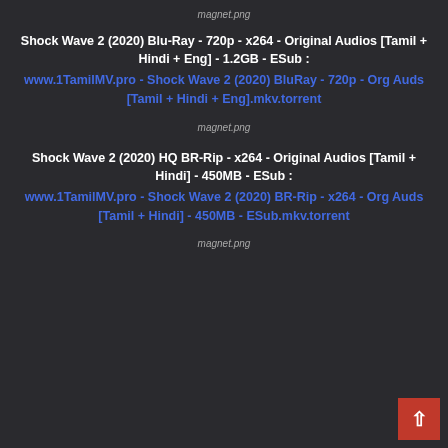[Figure (other): magnet.png icon at top]
Shock Wave 2 (2020) Blu-Ray - 720p - x264 - Original Audios [Tamil + Hindi + Eng] - 1.2GB - ESub :
www.1TamilMV.pro - Shock Wave 2 (2020) BluRay - 720p - Org Auds [Tamil + Hindi + Eng].mkv.torrent
[Figure (other): magnet.png icon]
Shock Wave 2 (2020) HQ BR-Rip - x264 - Original Audios [Tamil + Hindi] - 450MB - ESub :
www.1TamilMV.pro - Shock Wave 2 (2020) BR-Rip - x264 - Org Auds [Tamil + Hindi] - 450MB - ESub.mkv.torrent
[Figure (other): magnet.png icon at bottom]